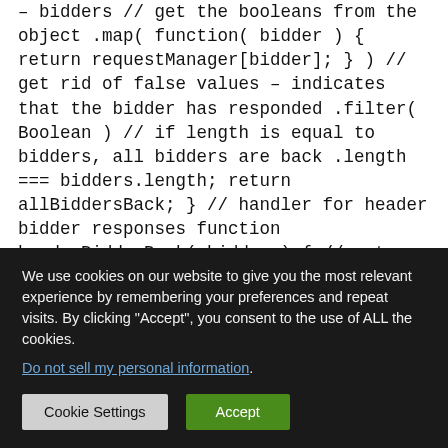– bidders // get the booleans from the object .map( function( bidder ) { return requestManager[bidder]; } ) // get rid of false values – indicates that the bidder has responded .filter( Boolean ) // if length is equal to bidders, all bidders are back .length === bidders.length; return allBiddersBack; } // handler for header bidder responses function headerBidderBack( bidder ) { // return early if request to adserver is already sent if ( requestManager.adserverRequestSent === true ) { return; } // flip bidder back flag if ( bidder === 'a9' ) { requestManager.a9 = true; console.log('second promise a9
We use cookies on our website to give you the most relevant experience by remembering your preferences and repeat visits. By clicking "Accept", you consent to the use of ALL the cookies.
Do not sell my personal information.
Cookie Settings  Accept